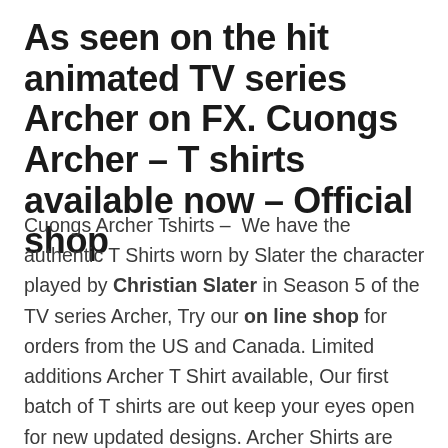As seen on the hit animated TV series Archer on FX. Cuongs Archer – T shirts available now – Official shop
Cuongs Archer Tshirts – We have the authentic T Shirts worn by Slater the character played by Christian Slater in Season 5 of the TV series Archer, Try our on line shop for orders from the US and Canada. Limited additions Archer T Shirt available, Our first batch of T shirts are out keep your eyes open for new updated designs. Archer Shirts are available free for people who come on a motorbike ride with Cuong the Archer Shirts is one of a kind. We have seen the design in the TV show Archer in season 5 as well as Archer season 6, in both series the logo has been displayed prominently on the Archer